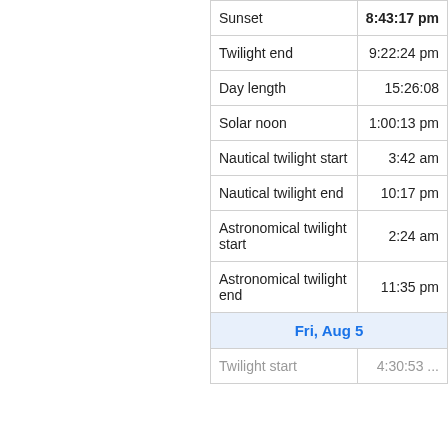| Event | Time |
| --- | --- |
| Sunset | 8:43:17 pm |
| Twilight end | 9:22:24 pm |
| Day length | 15:26:08 |
| Solar noon | 1:00:13 pm |
| Nautical twilight start | 3:42 am |
| Nautical twilight end | 10:17 pm |
| Astronomical twilight start | 2:24 am |
| Astronomical twilight end | 11:35 pm |
| Fri, Aug 5 |  |
| Twilight start | 4:30:53 ... |